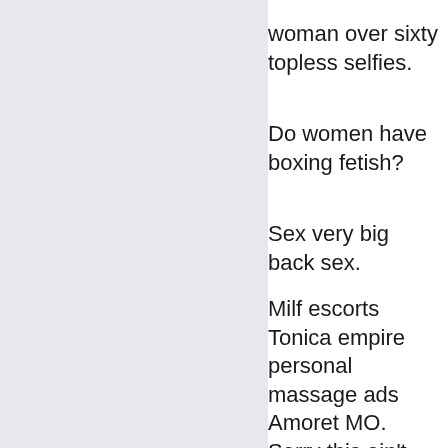woman over sixty topless selfies.
Do women have boxing fetish?
Sex very big back sex.
Milf escorts Tonica empire personal massage ads Amoret MO. Sorry this ain't fantasy island so I'm not shallow but I'm looking for a 6 foot muscular